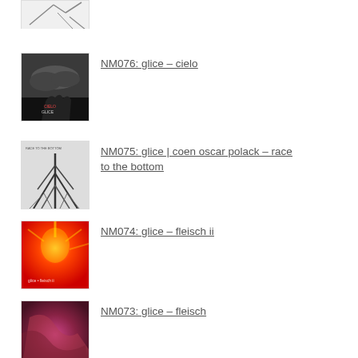[Figure (illustration): Partial album art cropped at top - black and white sketchy artwork]
[Figure (illustration): Album cover: CIELO by GLICE, black and white cloudy sky photo with text]
NM076: glice – cielo
[Figure (illustration): Album cover: glice | coen oscar polack – race to the bottom, black and white tree roots]
NM075: glice | coen oscar polack – race to the bottom
[Figure (illustration): Album cover: glice – fleisch ii, red/orange fiery abstract image]
NM074: glice – fleisch ii
[Figure (illustration): Album cover: glice – fleisch, red/purple abstract image]
NM073: glice – fleisch